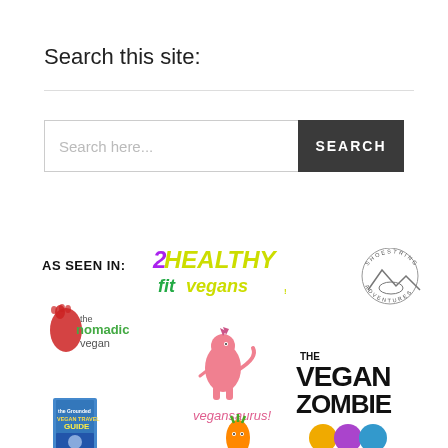Search this site:
[Figure (screenshot): Search bar with text input field placeholder 'Search here...' and a dark 'SEARCH' button]
[Figure (infographic): AS SEEN IN banner with logos: 2HealthyFitVegans, Shoestring Adventures, The Nomadic Vegan, Vegansaurus!, The Vegan Zombie, a vegan travel guide book, a carrot character, and colorful circles]